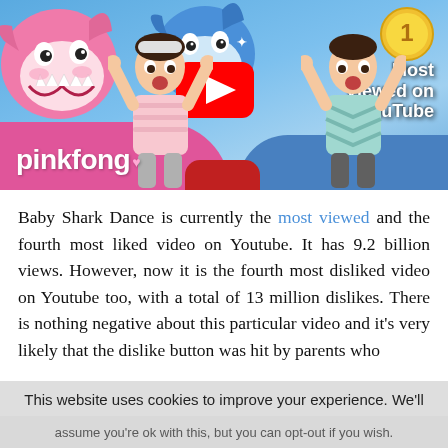[Figure (screenshot): Pinkfong Baby Shark Dance YouTube thumbnail showing two children with hands raised, a pink shark and blue shark, the YouTube play button, a #1 medal badge, and text 'Most Viewed on YouTube' with 'pinkfong' branding at the bottom left.]
Baby Shark Dance is currently the most viewed and the fourth most liked video on Youtube. It has 9.2 billion views. However, now it is the fourth most disliked video on Youtube too, with a total of 13 million dislikes. There is nothing negative about this particular video and it's very likely that the dislike button was hit by parents who
This website uses cookies to improve your experience. We'll